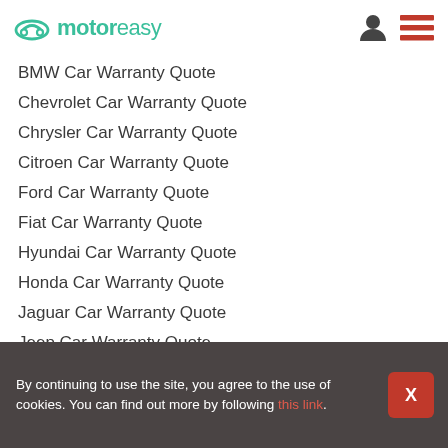motoreasy
BMW Car Warranty Quote
Chevrolet Car Warranty Quote
Chrysler Car Warranty Quote
Citroen Car Warranty Quote
Ford Car Warranty Quote
Fiat Car Warranty Quote
Hyundai Car Warranty Quote
Honda Car Warranty Quote
Jaguar Car Warranty Quote
Jeep Car Warranty Quote
By continuing to use the site, you agree to the use of cookies. You can find out more by following this link.